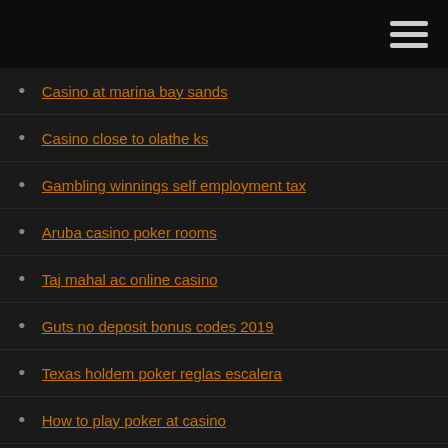Casino at marina bay sands
Casino close to olathe ks
Gambling winnings self employment tax
Aruba casino poker rooms
Taj mahal ac online casino
Guts no deposit bonus codes 2019
Texas holdem poker reglas escalera
How to play poker at casino
Gday casino no deposit bonus 2019
Zynga poker sit and go rules
Bovada online casino no deposit sign up bonus codes
Casino des fleurs rochefort sur mer
Sach day choi poker tieng viet
Wheel of fortune game download free full version